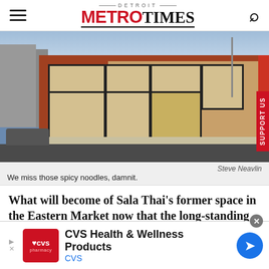Detroit Metro Times
[Figure (photo): Exterior photo of Sala Thai restaurant building in Eastern Market, Detroit — a red brick building with large white-framed windows and garage-style doors, street view with car parked on left.]
Steve Neavlin
We miss those spicy noodles, damnit.
What will become of Sala Thai’s former space in the Eastern Market now that the long-standing restaurant has closed? We don’t know, but it’s now available for lease to
[Figure (screenshot): CVS Health & Wellness Products advertisement banner with CVS pharmacy logo and navigation arrow icon.]